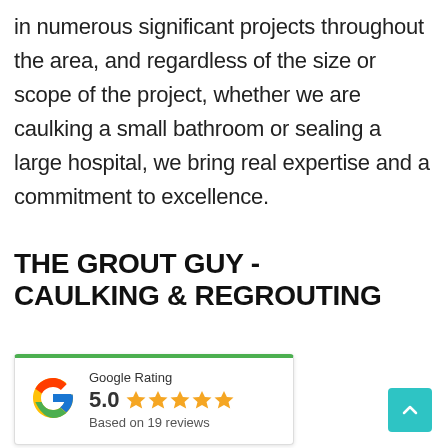in numerous significant projects throughout the area, and regardless of the size or scope of the project, whether we are caulking a small bathroom or sealing a large hospital, we bring real expertise and a commitment to excellence.
THE GROUT GUY - CAULKING & REGROUTING
[Figure (other): Google Rating widget showing 5.0 stars based on 19 reviews, with Google 'G' logo in red/yellow/green/blue colors]
[Figure (other): Teal/cyan back-to-top button with upward chevron arrow]